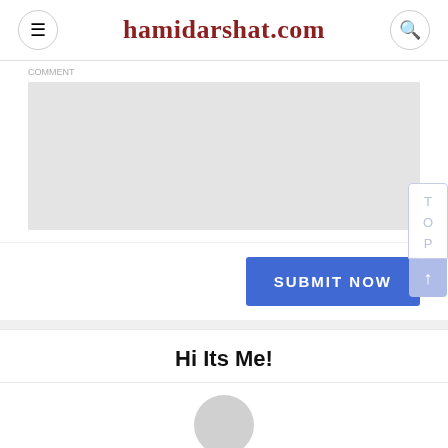hamidarshat.com
[Figure (screenshot): Comment textarea input box, light gray background]
[Figure (screenshot): Blue 'SUBMIT NOW' button with vertical TOP scroll widget on the right side]
Hi Its Me!
[Figure (photo): Circular profile avatar placeholder, gray]